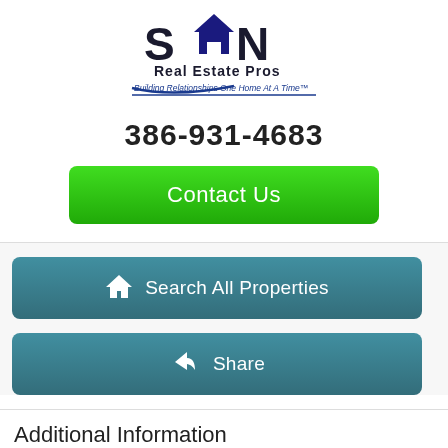[Figure (logo): SRN Real Estate Pros logo with tagline 'Building Relationships One Home At A Time']
386-931-4683
Contact Us
Search All Properties
Share
Additional Information
| Taxes | $3642 |